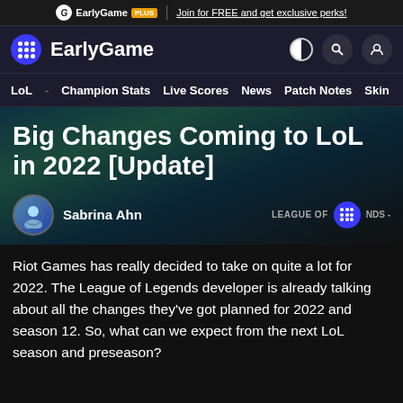EarlyGame PLUS | Join for FREE and get exclusive perks!
EarlyGame
LoL - Champion Stats  Live Scores  News  Patch Notes  Skin
Big Changes Coming to LoL in 2022 [Update]
Sabrina Ahn   LEAGUE OF LEGENDS -
Riot Games has really decided to take on quite a lot for 2022. The League of Legends developer is already talking about all the changes they've got planned for 2022 and season 12. So, what can we expect from the next LoL season and preseason?